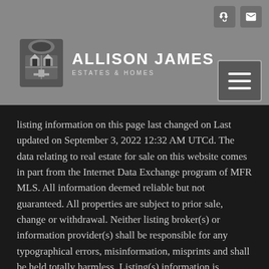[Figure (logo): Allison James Estates & Homes logo with crest icon and text]
listing information on this page last changed on Last updated on September 3, 2022 12:32 AM UTCd. The data relating to real estate for sale on this website comes in part from the Internet Data Exchange program of MFR MLS. All information deemed reliable but not guaranteed. All properties are subject to prior sale, change or withdrawal. Neither listing broker(s) or information provider(s) shall be responsible for any typographical errors, misinformation, misprints and shall be held totally harmless. Listing(s) information is provided for consumers personal, non-commercial use and may not be used for any purpose other than to identify prospective properties consumers may be interested in purchasing. Updated on September 3, 2022 12:32 AM UTC